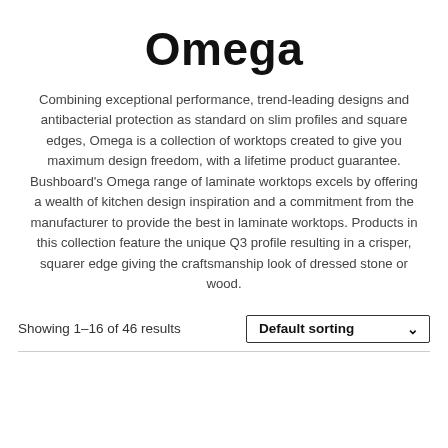Omega
Combining exceptional performance, trend-leading designs and antibacterial protection as standard on slim profiles and square edges, Omega is a collection of worktops created to give you maximum design freedom, with a lifetime product guarantee. Bushboard's Omega range of laminate worktops excels by offering a wealth of kitchen design inspiration and a commitment from the manufacturer to provide the best in laminate worktops. Products in this collection feature the unique Q3 profile resulting in a crisper, squarer edge giving the craftsmanship look of dressed stone or wood.
Showing 1–16 of 46 results
Default sorting